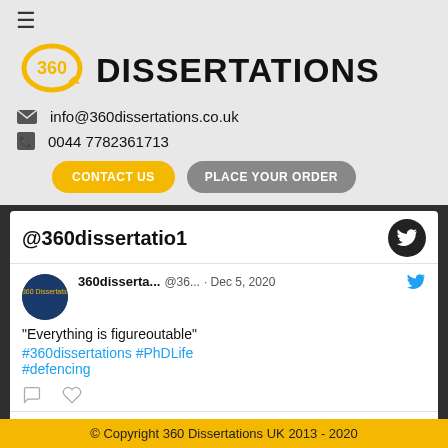[Figure (logo): 360 Dissertations logo with circular arrow and bold text]
info@360dissertations.co.uk
0044 7782361713
CONTACT US
PLACE YOUR ORDER
@360dissertatio1
360disserta... @36... · Dec 5, 2020
"Everything is figureoutable" #360dissertations #PhDLife #defencing
360disserta... @36... · Nov 30, 2020
© Copyright 360 Dissertations UK 2013 - 2020